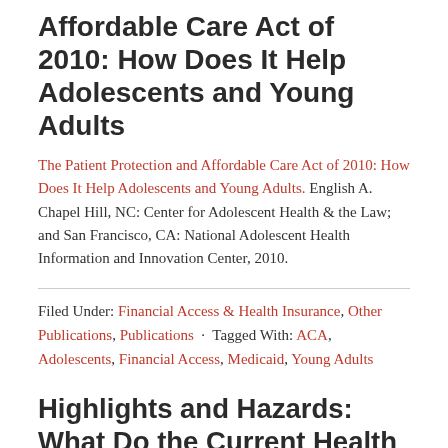Affordable Care Act of 2010: How Does It Help Adolescents and Young Adults
The Patient Protection and Affordable Care Act of 2010: How Does It Help Adolescents and Young Adults. English A. Chapel Hill, NC: Center for Adolescent Health & the Law; and San Francisco, CA: National Adolescent Health Information and Innovation Center, 2010.
Filed Under: Financial Access & Health Insurance, Other Publications, Publications · Tagged With: ACA, Adolescents, Financial Access, Medicaid, Young Adults
Highlights and Hazards: What Do the Current Health Care Reform Bills Do for Adolescents & Young Adults (November 2009)